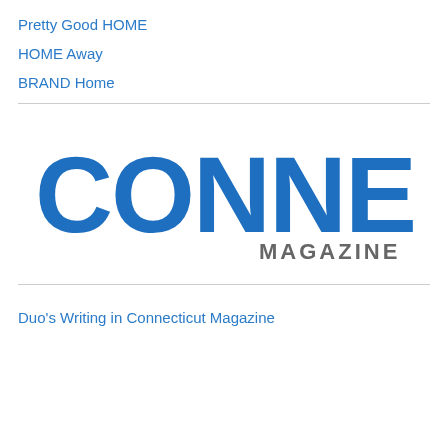Pretty Good HOME
HOME Away
BRAND Home
[Figure (logo): Connecticut Magazine logo — large bold blue uppercase letters spelling CONNECTICUT with MAGAZINE in smaller gray text below-right]
Duo's Writing in Connecticut Magazine